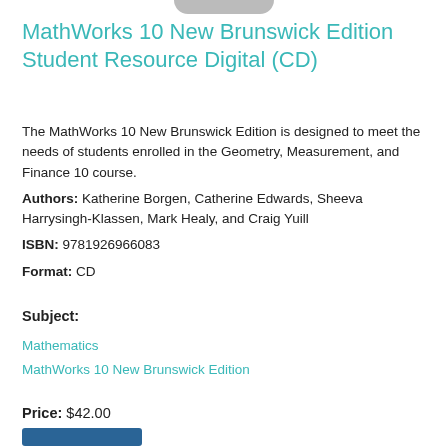[Figure (photo): Partial book cover image visible at the top of the page]
MathWorks 10 New Brunswick Edition Student Resource Digital (CD)
The MathWorks 10 New Brunswick Edition is designed to meet the needs of students enrolled in the Geometry, Measurement, and Finance 10 course.
Authors: Katherine Borgen, Catherine Edwards, Sheeva Harrysingh-Klassen, Mark Healy, and Craig Yuill
ISBN: 9781926966083
Format: CD
Subject:
Mathematics
MathWorks 10 New Brunswick Edition
Price: $42.00